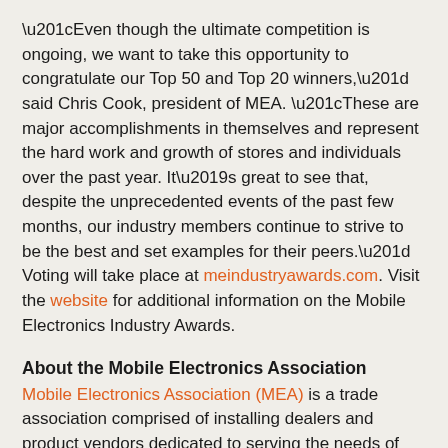“Even though the ultimate competition is ongoing, we want to take this opportunity to congratulate our Top 50 and Top 20 winners,” said Chris Cook, president of MEA. “These are major accomplishments in themselves and represent the hard work and growth of stores and individuals over the past year. It’s great to see that, despite the unprecedented events of the past few months, our industry members continue to strive to be the best and set examples for their peers.” Voting will take place at meindustryawards.com. Visit the website for additional information on the Mobile Electronics Industry Awards.
About the Mobile Electronics Association
Mobile Electronics Association (MEA) is a trade association comprised of installing dealers and product vendors dedicated to serving the needs of the mobile electronics specialist industry. MEA owns and produces KnowledgeFest™, regional trade-only industry events that combine educational programming and vendor training with a trade show floor. MEA owns and publishes the monthly Mobile Electronics® magazine, which is the industry’s #1 resource, as well as other digital media, including websites and the industry’s e-newsletter Hotwire. MEA provides software and data to his associates to